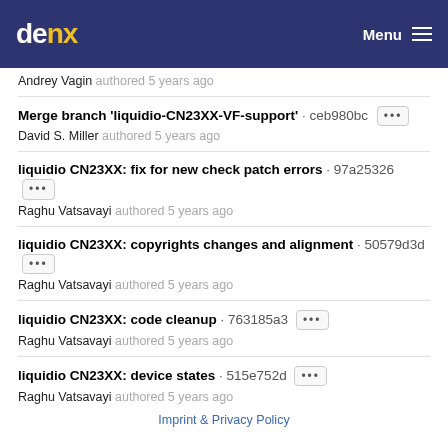denx  Menu
Andrey Vagin authored 5 years ago
Merge branch 'liquidio-CN23XX-VF-support' · ceb980bc  David S. Miller authored 5 years ago
liquidio CN23XX: fix for new check patch errors · 97a25326  Raghu Vatsavayi authored 5 years ago
liquidio CN23XX: copyrights changes and alignment · 50579d3d  Raghu Vatsavayi authored 5 years ago
liquidio CN23XX: code cleanup · 763185a3  Raghu Vatsavayi authored 5 years ago
liquidio CN23XX: device states · 515e752d  Raghu Vatsavayi authored 5 years ago
Imprint & Privacy Policy